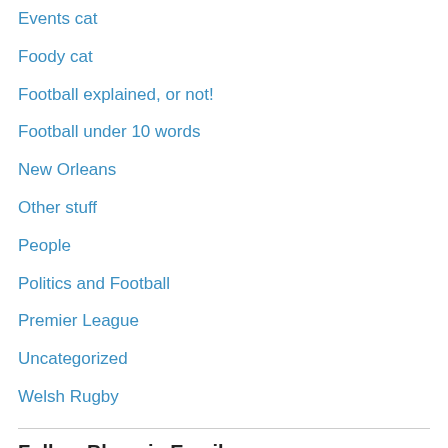Events cat
Foody cat
Football explained, or not!
Football under 10 words
New Orleans
Other stuff
People
Politics and Football
Premier League
Uncategorized
Welsh Rugby
Follow Blog via Email
Enter your email address to follow this blog and receive notifications of new posts by email.
Enter your email address